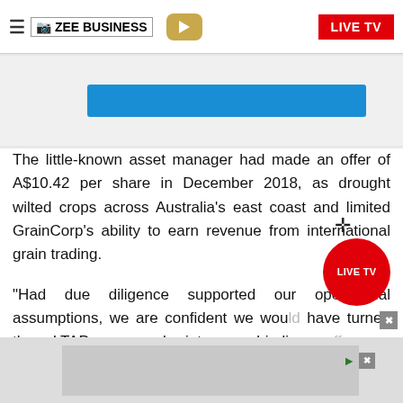ZEE BUSINESS | LIVE TV
[Figure (screenshot): Blue button/banner partially visible]
The little-known asset manager had made an offer of A$10.42 per share in December 2018, as drought wilted crops across Australia's east coast and limited GrainCorp's ability to earn revenue from international grain trading.
"Had due diligence supported our operational assumptions, we are confident we would have turned the LTAP proposal into a binding offer as contemplated," LTAP Chairman Tony Sherlock said in a separate release late on Monday.
[Figure (screenshot): Advertisement bar at bottom of page]